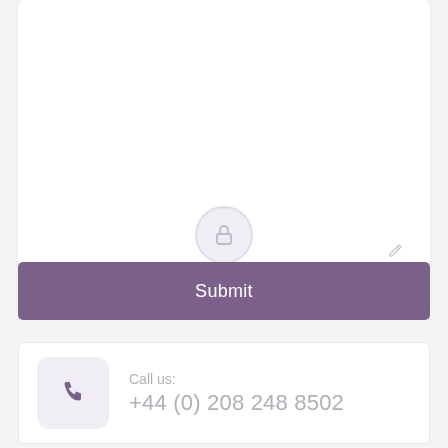[Figure (screenshot): A white form card with a lock icon circle in the center and a pencil/edit icon in the top-right area]
Submit
Call us:
+44 (0) 208 248 8502